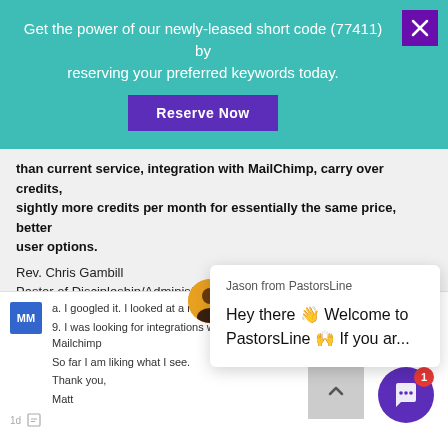Get the power of our newly-leased short code (77411) by reserving your preferred keywords today.
Reserve Now
than current service, integration with MailChimp, carry over credits, sightly more credits per month for essentially the same price, better user options.
Rev. Chris Gambill
Pastor of Discipleship/Administration
First Alliance Church Toccoa
Liked the service because of interface than current servic
Jason from PastorsLine
Hey there 👋 Welcome to PastorsLine 🙌 If you ar...
a. I googled it. I looked at a number of c
9. I was looking for integrations with Fellowship One, Planning Center and Mailchimp
So far I am liking what I see.
Thank you,
Matt